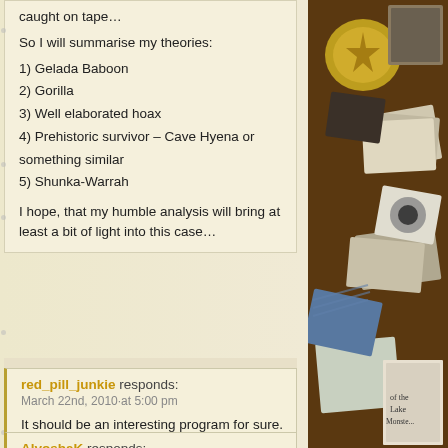caught on tape…
So I will summarise my theories:
1) Gelada Baboon
2) Gorilla
3) Well elaborated hoax
4) Prehistoric survivor – Cave Hyena or something similar
5) Shunka-Warrah
I hope, that my humble analysis will bring at least a bit of light into this case…
red_pill_junkie responds:
March 22nd, 2010·at 5:00 pm
It should be an interesting program for sure.
AlyoshaK responds:
[Figure (photo): Collage of cryptozoology-related images including photographs, a compass rose medallion, drawings of sea creatures and monsters, and book covers on a brown background]